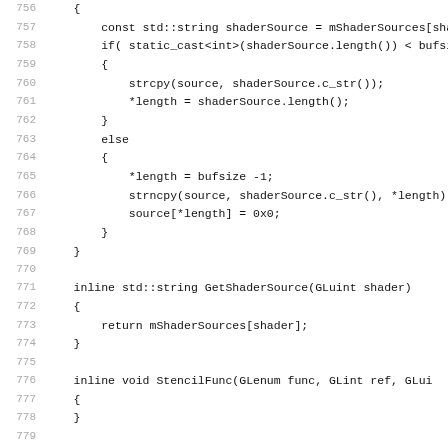[Figure (screenshot): Source code listing showing C++ inline methods for OpenGL shader source handling (lines 756-787+), including GetShaderSource, StencilFunc, StencilFuncSeparate, StencilMask functions with line numbers on the left in gray and code in monospace on the right.]